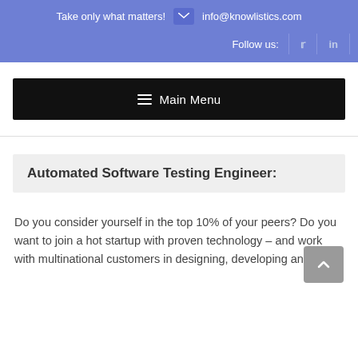Take only what matters!  info@knowlistics.com  Follow us:
Main Menu
Automated Software Testing Engineer:
Do you consider yourself in the top 10% of your peers? Do you want to join a hot startup with proven technology – and work with multinational customers in designing, developing and